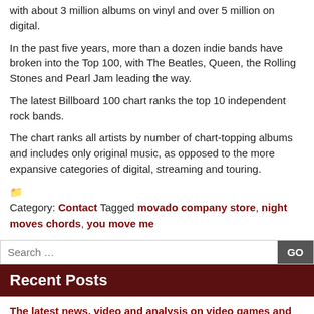with about 3 million albums on vinyl and over 5 million on digital.
In the past five years, more than a dozen indie bands have broken into the Top 100, with The Beatles, Queen, the Rolling Stones and Pearl Jam leading the way.
The latest Billboard 100 chart ranks the top 10 independent rock bands.
The chart ranks all artists by number of chart-topping albums and includes only original music, as opposed to the more expansive categories of digital, streaming and touring.
Category: Contact Tagged movado company store, night moves chords, you move me
Recent Posts
The latest news, video and analysis on video games and esports
Ludacris moves on to the next phase of his comeback
How to use an Amazon move on NBA.com
Why I'm moving my money away from the U.S. dollar and into gold and silver
A chess move meaning "2 move"
Archives